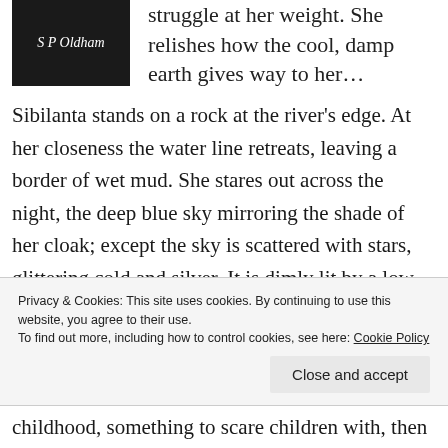[Figure (photo): Dark/black book cover image with author name 'S P Oldham' in white italic text]
struggle at her weight. She relishes how the cool, damp earth gives way to her…
Sibilanta stands on a rock at the river's edge. At her closeness the water line retreats, leaving a border of wet mud. She stares out across the night, the deep blue sky mirroring the shade of her cloak; except the sky is scattered with stars, glittering cold and silver. It is dimly lit by a low and wary moon, while Sibilanta's cloak is unadorned and
Privacy & Cookies: This site uses cookies. By continuing to use this website, you agree to their use.
To find out more, including how to control cookies, see here: Cookie Policy
Close and accept
childhood, something to scare children with, then